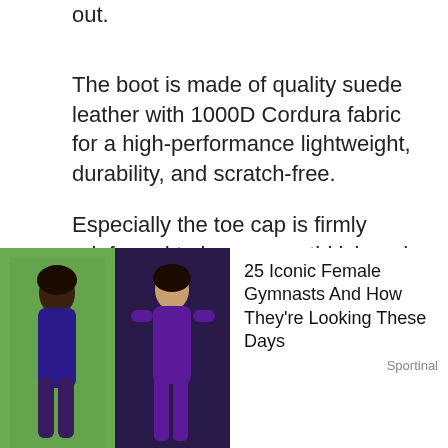out.
The boot is made of quality suede leather with 1000D Cordura fabric for a high-performance lightweight, durability, and scratch-free.
Especially the toe cap is firmly reinforced to improve anti-kick and anti-collision, helping to protect your feet from external shock.
The highly wear-resistant and sweat-wick insole is perfect for those who sweat heavily in their feet sole during hot weather.
[Figure (photo): Advertisement overlay showing two female gymnasts with title '25 Iconic Female Gymnasts And How They're Looking These Days' and source label 'Sportinal']